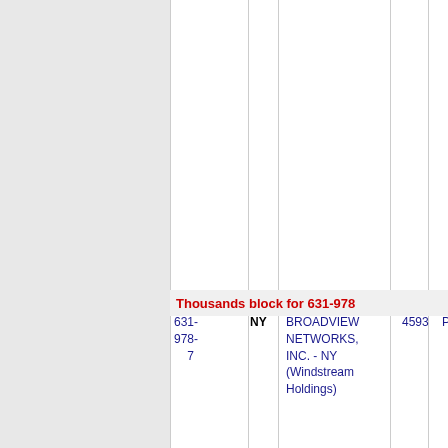Thousands block for 631-978
| NPA | State | Company | Rate | City |
| --- | --- | --- | --- | --- |
| 631-978-7 | NY | BROADVIEW NETWORKS, INC. - NY (Windstream Holdings) | 4593 | PTJEFFE... |